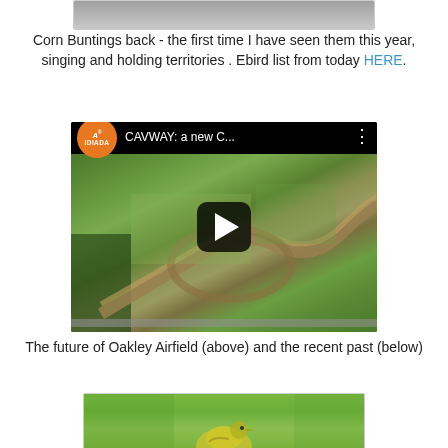[Figure (photo): Partial top image of a bird (Corn Bunting) on a grey background, cropped at top]
Corn Buntings back - the first time I have seen them this year, singing and holding territories . Ebird list from today HERE.
[Figure (screenshot): Embedded video thumbnail showing aerial view of Oakley Airfield with player title 'CAVWAY: a new C...' and Applus IDIADA logo]
The future of Oakley Airfield (above) and the recent past (below)
[Figure (photo): Partial bottom image of a yellow-green bird (possibly a Yellow Wagtail) on green background, cropped at bottom]